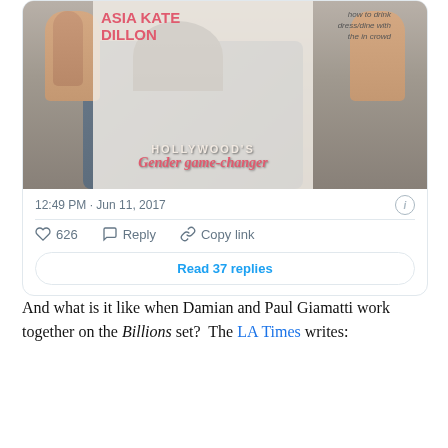[Figure (screenshot): A tweet card showing a person holding a magazine. The magazine cover shows 'Asia Kate Dillon' in pink/red bold text, 'how to drink dress/dine with the in crowd' in the upper right, and at the bottom 'HOLLYWOOD'S Gender game-changer'. The tweet timestamp reads '12:49 PM · Jun 11, 2017' with an info icon, then a divider, action buttons: heart (626), Reply, Copy link, and a 'Read 37 replies' button.]
And what is it like when Damian and Paul Giamatti work together on the Billions set?  The LA Times writes: